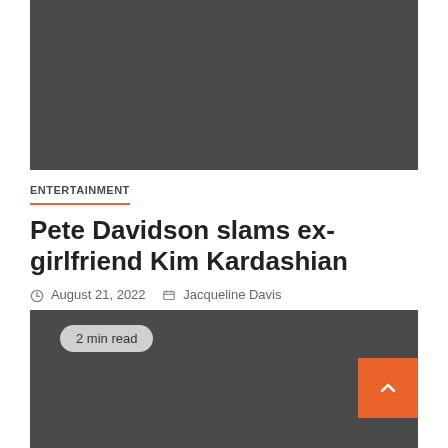[Figure (photo): Dark gray rectangular image placeholder at top of article]
ENTERTAINMENT
Pete Davidson slams ex-girlfriend Kim Kardashian
August 21, 2022   Jacqueline Davis
[Figure (photo): Dark gray rectangular image placeholder, article content area with 2 min read badge]
2 min read